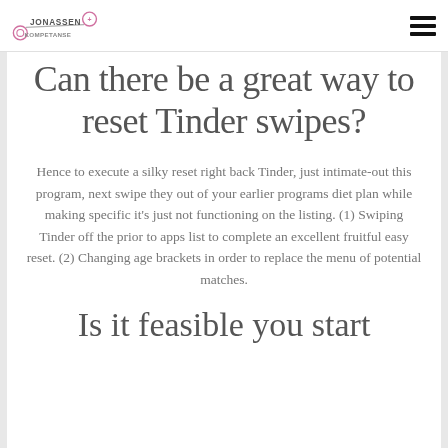Jonassen Kompetanse [logo] [hamburger menu]
Can there be a great way to reset Tinder swipes?
Hence to execute a silky reset right back Tinder, just intimate-out this program, next swipe they out of your earlier programs diet plan while making specific it's just not functioning on the listing. (1) Swiping Tinder off the prior to apps list to complete an excellent fruitful easy reset. (2) Changing age brackets in order to replace the menu of potential matches.
Is it feasible you start